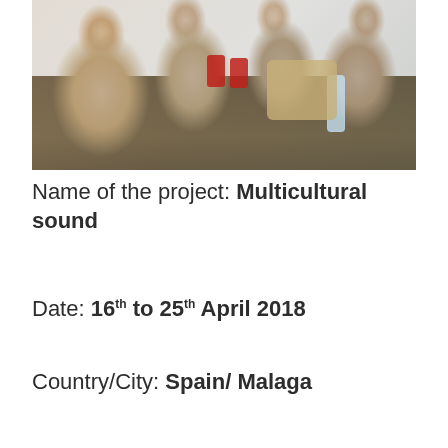[Figure (photo): Group photo of several young women sitting around a table with Coca-Cola cans, a handbag, and a water bottle visible on the table.]
Name of the project: Multicultural sound
Date: 16th to 25th April 2018
Country/City: Spain/ Malaga